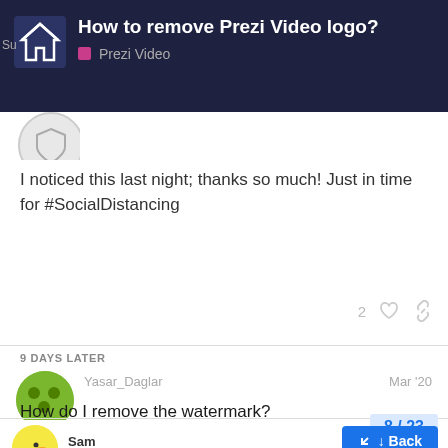How to remove Prezi Video logo? — Prezi Video
I noticed this last night; thanks so much! Just in time for #SocialDistancing
9 DAYS LATER
Yasar_Daglar  Mar '20
How do I remove the watermark?
Sam
Prezi employee
8 / 23